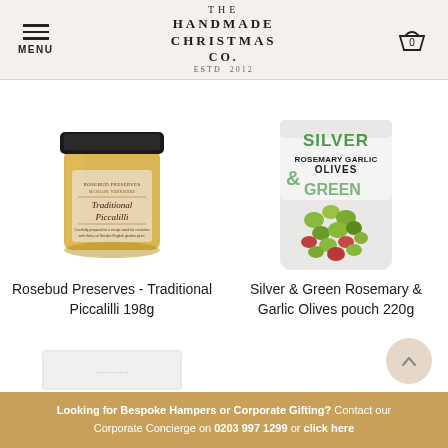THE HANDMADE CHRISTMAS CO. ESTD 2012
[Figure (photo): Jar of Rosebud Preserves Traditional Piccalilli 198g]
[Figure (photo): Silver & Green Rosemary Garlic Olives pouch 220g]
Rosebud Preserves - Traditional Piccalilli 198g
Silver & Green Rosemary & Garlic Olives pouch 220g
[Figure (photo): Partially visible third product at bottom of page]
Looking for Bespoke Hampers or Corporate Gifting? Contact our Corporate Concierge on 0203 997 1299 or click here